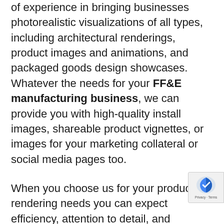of experience in bringing businesses photorealistic visualizations of all types, including architectural renderings, product images and animations, and packaged goods design showcases. Whatever the needs for your FF&E manufacturing business, we can provide you with high-quality install images, shareable product vignettes, or images for your marketing collateral or social media pages too.
When you choose us for your product rendering needs you can expect efficiency, attention to detail, and valuable assets that are crafted with impressive swiftness using proprietary rendering techniques and technologies.
High-quality 3D product renderings can provide
[Figure (other): reCAPTCHA badge with blue shield icon and 'Privacy - Terms' text]